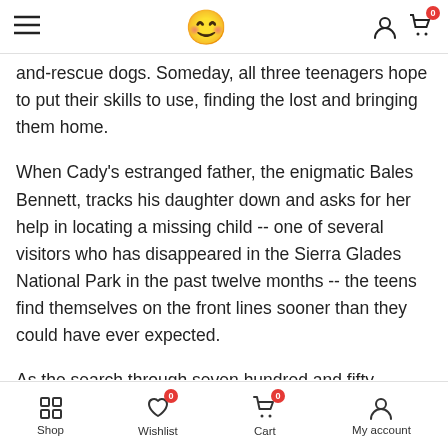Navigation header with hamburger menu, smiley face logo, user icon, and cart icon with badge 0
and-rescue dogs. Someday, all three teenagers hope to put their skills to use, finding the lost and bringing them home.
When Cady's estranged father, the enigmatic Bales Bennett, tracks his daughter down and asks for her help in locating a missing child -- one of several visitors who has disappeared in the Sierra Glades National Park in the past twelve months -- the teens find themselves on the front lines sooner than they could have ever expected.
As the search through seven hundred and fifty thousand acres of unbridled wilderness intensifies, Kira becomes obsessed with finding the missing child. She
Shop | Wishlist (0) | Cart (0) | My account